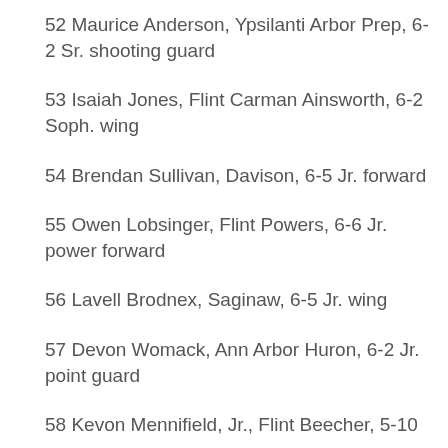52 Maurice Anderson, Ypsilanti Arbor Prep, 6-2 Sr. shooting guard
53 Isaiah Jones, Flint Carman Ainsworth, 6-2 Soph. wing
54 Brendan Sullivan, Davison, 6-5 Jr. forward
55 Owen Lobsinger, Flint Powers, 6-6 Jr. power forward
56 Lavell Brodnex, Saginaw, 6-5 Jr. wing
57 Devon Womack, Ann Arbor Huron, 6-2 Jr. point guard
58 Kevon Mennifield, Jr., Flint Beecher, 5-10